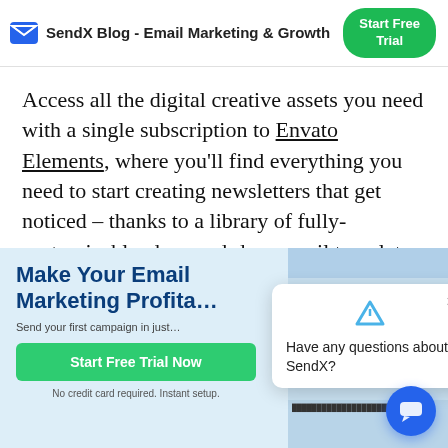SendX Blog - Email Marketing & Growth | Start Free Trial
Access all the digital creative assets you need with a single subscription to Envato Elements, where you'll find everything you need to start creating newsletters that get noticed – thanks to a library of fully-customizable, drag-and-drop email templates.
[Figure (screenshot): SendX promotional banner with headline 'Make Your Email Marketing Profita[ble]', a green 'Start Free Trial Now' button, subtext 'Send your first campaign in just...', a chat popup asking 'Have any questions about SendX?', and a blue chat bubble button.]